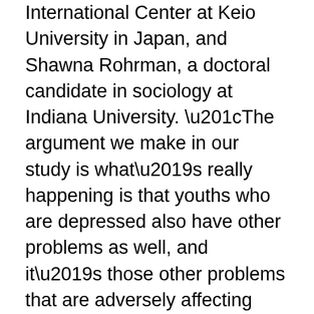International Center at Keio University in Japan, and Shawna Rohrman, a doctoral candidate in sociology at Indiana University. “The argument we make in our study is what’s really happening is that youths who are depressed also have other problems as well, and it’s those other problems that are adversely affecting their achievement.”
Unlike students who experienced depression, the study found that adolescents who experienced attention issues, delinquency, or substance use had lower average GPAs than youths without any such problems. Similarly, delinquency and substance use were associated with receiving lesser